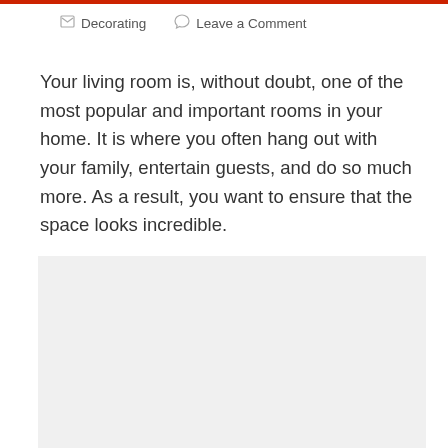Decorating   Leave a Comment
Your living room is, without doubt, one of the most popular and important rooms in your home. It is where you often hang out with your family, entertain guests, and do so much more. As a result, you want to ensure that the space looks incredible.
[Figure (other): Large light grey placeholder image box with a scroll-up arrow icon on the right side]